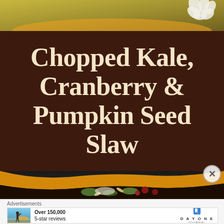[Figure (photo): Top portion of a yellow bowl with food, partially visible at top of page — a food photography image]
Chopped Kale, Cranberry & Pumpkin Seed Slaw
[Figure (photo): Bottom portion of a yellow bowl containing chopped kale slaw with cranberries and pumpkin seeds]
Advertisements
[Figure (photo): Advertisement banner: person standing at sunset with text 'Over 150,000 5-star reviews' and Day One Journal logo]